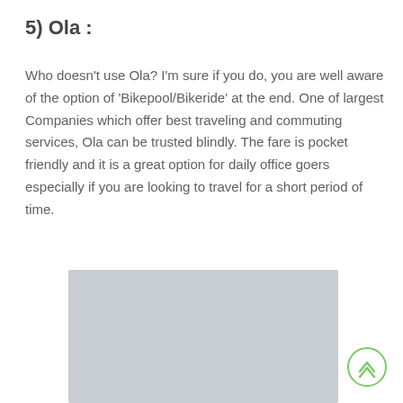5) Ola :
Who doesn’t use Ola? I’m sure if you do, you are well aware of the option of ‘Bikepool/Bikeride’ at the end. One of largest Companies which offer best traveling and commuting services, Ola can be trusted blindly. The fare is pocket friendly and it is a great option for daily office goers especially if you are looking to travel for a short period of time.
[Figure (photo): Gray placeholder image block representing an Ola-related image]